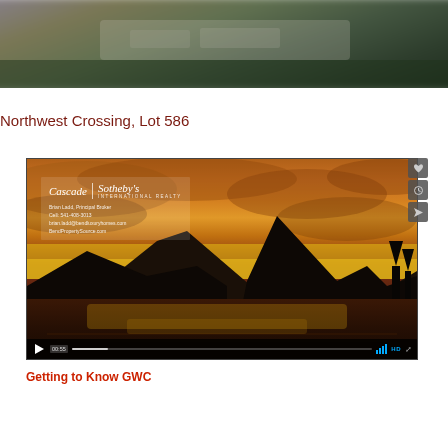[Figure (photo): Blurred outdoor/building photo at top of page]
Northwest Crossing, Lot 586
[Figure (screenshot): Video player screenshot showing Cascade Sotheby's International Realty branded video with sunset/mountain landscape. Controls bar at bottom with play button, timestamp 00:55, progress bar, HD badge. Side icons for favorite, watch later, share.]
Getting to Know GWC